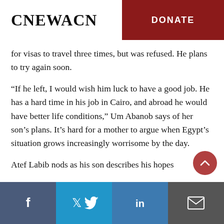CNEWACN | DONATE
for visas to travel three times, but was refused. He plans to try again soon.
“If he left, I would wish him luck to have a good job. He has a hard time in his job in Cairo, and abroad he would have better life conditions,” Um Abanob says of her son’s plans. It’s hard for a mother to argue when Egypt’s situation grows increasingly worrisome by the day.
Atef Labib nods as his son describes his hopes
Facebook | Twitter | LinkedIn | Email